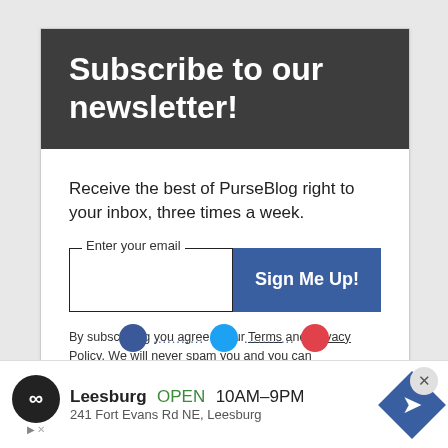Subscribe to our newsletter!
Receive the best of PurseBlog right to your inbox, three times a week.
By subscribing you agree to our Terms and Privacy Policy. We will never spam you and you can unsubscribe any time.
[Figure (infographic): Newsletter signup form with email input field and blue Sign Me Up! button]
[Figure (infographic): Social sharing icons row: Facebook, Twitter, Pinterest circles partially visible]
[Figure (infographic): Advertisement banner: Leesburg store ad showing OPEN 10AM-9PM, 241 Fort Evans Rd NE Leesburg, with infinity logo, navigation diamond icon, and close button]